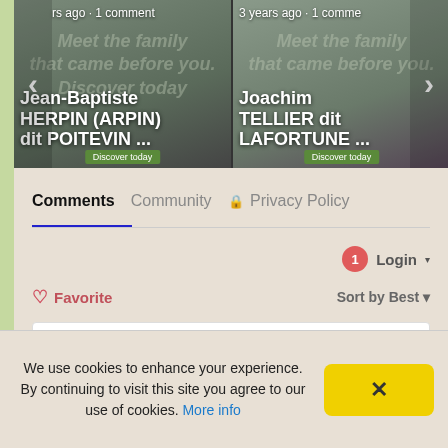[Figure (screenshot): Carousel showing two genealogy profile cards. Left card: 'Jean-Baptiste HERPIN (ARPIN) dit POITEVIN ...' with metadata 'rs ago · 1 comment'. Right card: 'Joachim TELLIER dit LAFORTUNE ...' with metadata '3 years ago · 1 comment'. Left and right navigation arrows visible.]
Comments   Community   🔒 Privacy Policy
1  Login ▾
♡ Favorite
Sort by Best ▾
Start the discussion...
LOG IN WITH
We use cookies to enhance your experience. By continuing to visit this site you agree to our use of cookies. More info